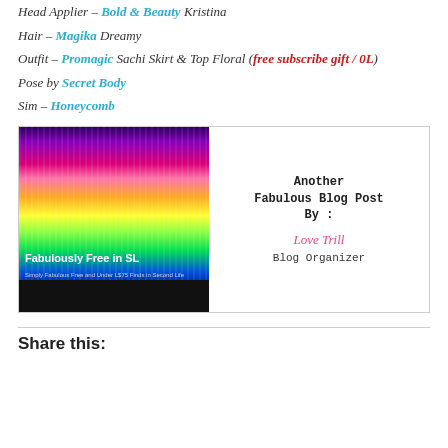Head Applier – Bold & Beauty Kristina
Hair – Magika Dreamy
Outfit – Promagic Sachi Skirt & Top Floral (free subscribe gift / 0L)
Pose by Secret Body
Sim – Honeycomb
[Figure (infographic): Fabulously Free in SL banner with rainbow gradient on the left and 'Another Fabulous Blog Post By: Love Trill Blog Organizer' on the right]
Share this: